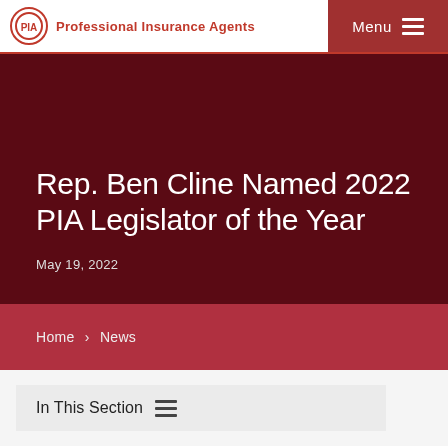Professional Insurance Agents | Menu
Rep. Ben Cline Named 2022 PIA Legislator of the Year
May 19, 2022
Home › News
In This Section